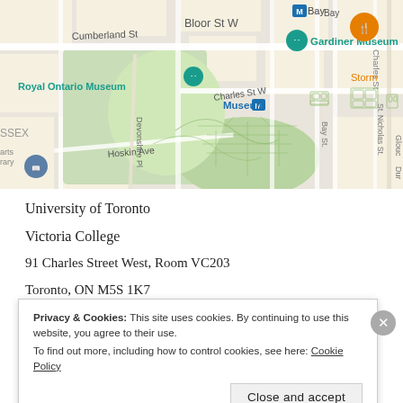[Figure (map): Google Maps screenshot showing the area around University of Toronto, Royal Ontario Museum, Gardiner Museum, Museum subway station, Bay Cloverhill neighbourhood, Bloor St W, Charles St W, Hoskin Ave, Queen's Park.]
University of Toronto
Victoria College
91 Charles Street West, Room VC203
Toronto, ON M5S 1K7
416-813-4087 / 416-706-2443 / 416-217-0981
Privacy & Cookies: This site uses cookies. By continuing to use this website, you agree to their use.
To find out more, including how to control cookies, see here: Cookie Policy